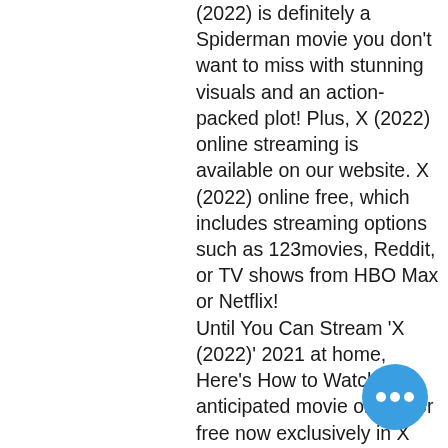(2022) is definitely a Spiderman movie you don't want to miss with stunning visuals and an action-packed plot! Plus, X (2022) online streaming is available on our website. X (2022) online free, which includes streaming options such as 123movies, Reddit, or TV shows from HBO Max or Netflix! Until You Can Stream 'X (2022)' 2021 at home, Here's How to Watch the anticipated movie online for free now exclusively in X (2022) full movie online. Relive the best moments with Tom Holland, Zendaya, Jacob Batalon, and more from the X (2022) Red Carpet presented by Marvel Unlimited. The online streaming is excellent to watch movies free online. It'll be the final release in what has been a jam-packed year for MCU films, with Black Widow, Shang-Chi, and Eternals all releasing before it. It'll be the last Marvel movie for a while, too, with Doctor Strange not launching until May 2021.
[Figure (other): Blue circular chat button with three white dots (ellipsis), positioned bottom-right]